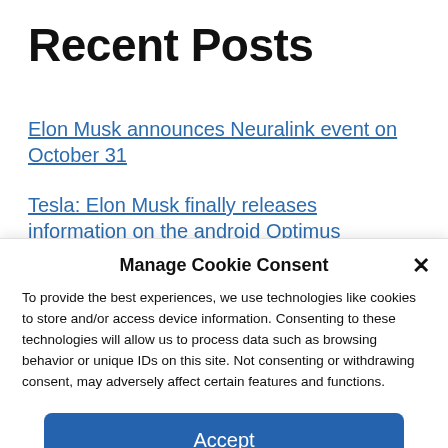Recent Posts
Elon Musk announces Neuralink event on October 31
Tesla: Elon Musk finally releases information on the android Optimus
Manage Cookie Consent
To provide the best experiences, we use technologies like cookies to store and/or access device information. Consenting to these technologies will allow us to process data such as browsing behavior or unique IDs on this site. Not consenting or withdrawing consent, may adversely affect certain features and functions.
Accept
Cookie Policy